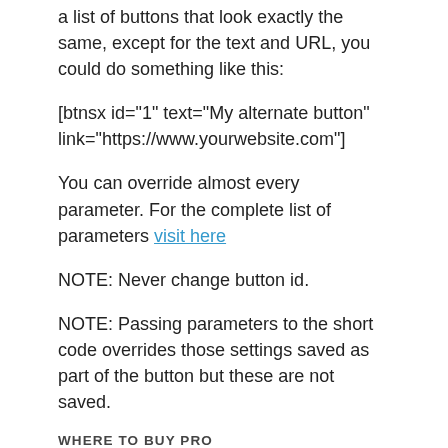a list of buttons that look exactly the same, except for the text and URL, you could do something like this:
[btnsx id="1" text="My alternate button" link="https://www.yourwebsite.com"]
You can override almost every parameter. For the complete list of parameters visit here
NOTE: Never change button id.
NOTE: Passing parameters to the short code overrides those settings saved as part of the button but these are not saved.
WHERE TO BUY PRO
Buttons X pro version is available on CodeCanyon for only $21.